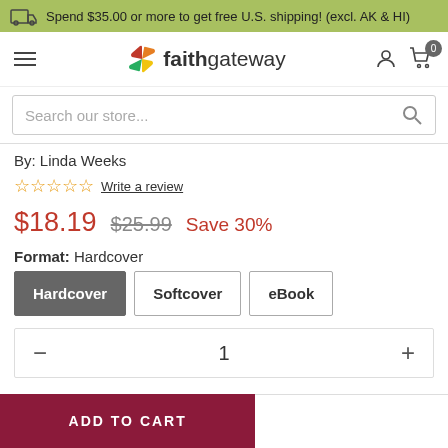Spend $35.00 or more to get free U.S. shipping! (excl. AK & HI)
[Figure (logo): FaithGateway logo with colorful pinwheel icon and 'faithgateway' text]
Search our store...
By: Linda Weeks
☆☆☆☆☆ Write a review
$18.19  $25.99  Save 30%
Format: Hardcover
Hardcover  Softcover  eBook
- 1 +
ADD TO CART